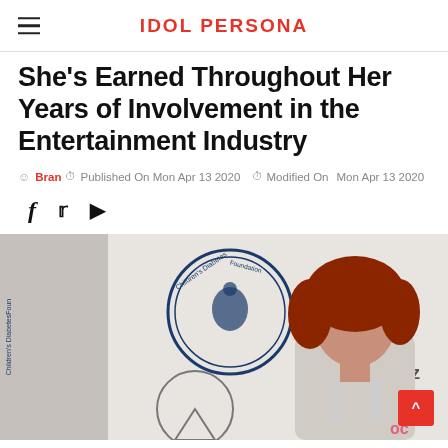IDOL PERSONA
She's Earned Throughout Her Years of Involvement in the Entertainment Industry
Bran  Published On Mon Apr 13 2020   Modified On Mon Apr 13 2020
[Figure (photo): Woman with short red hair posing at a Children's Diabetes Foundation event with Mercedes-Benz branding visible in background]